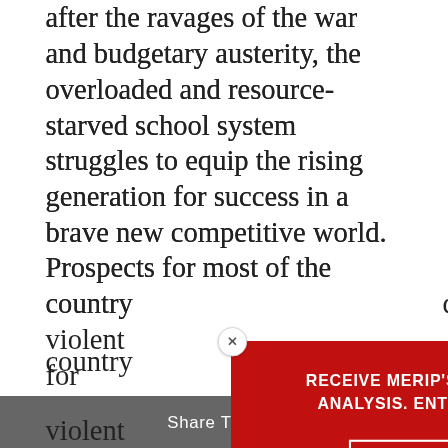after the ravages of the war and budgetary austerity, the overloaded and resource-starved school system struggles to equip the rising generation for success in a brave new competitive world. Prospects for most of the country's youth, growing up amidst violent conflict and dislocation, for something better remain very limited. A patronage are far superior education and training, according to some of those advising them, compared to the public school mushrooming precarious good
[Figure (screenshot): Newsletter signup modal overlay on a red background. Contains text: 'RECEIVE MERIP'S NEWSLETTER FOR ALL THE LATEST ANALYSIS. ENTER YOUR EMAIL AND CLICK SIGNUP.' with an email input field labeled 'Your Email' and a 'Sign Up' button. A close (x) button is in the top-left corner.]
Share This ∨  ×